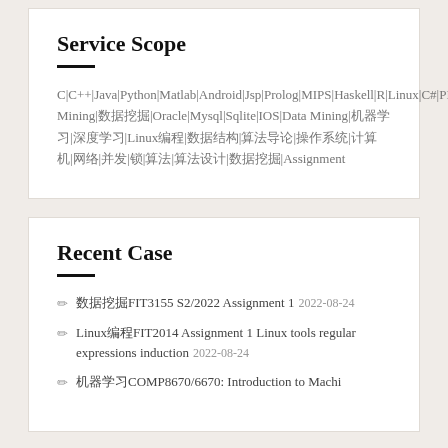Service Scope
C|C++|Java|Python|Matlab|Android|Jsp|Prolog|MIPS|Haskell|R|Linux|C#|PHP|SQL|.Net|Hadoop|Processing|JS|Ruby|Scala|Rust|Data Mining|数据挖掘|Oracle|Mysql|Sqlite|IOS|Data Mining|机器学习|深度学习|Linux编程|数据结构|算法导论|操作系统|计算机|网络|并发|锁|算法设计|数据挖掘|Assignment
Recent Case
数据挖掘FIT3155 S2/2022 Assignment 1 2022-08-24
Linux编程FIT2014 Assignment 1 Linux tools regular expressions induction 2022-08-24
机器学习COMP8670/6670: Introduction to Machi...